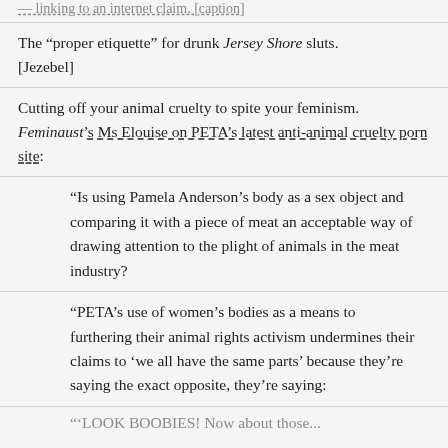— linking to an internet claim. [caption]
The “proper etiquette” for drunk Jersey Shore sluts. [Jezebel]
Cutting off your animal cruelty to spite your feminism. Feminaust’s Ms Elouise on PETA’s latest anti-animal cruelty porn site:
“Is using Pamela Anderson’s body as a sex object and comparing it with a piece of meat an acceptable way of drawing attention to the plight of animals in the meat industry?
“PETA’s use of women’s bodies as a means to furthering their animal rights activism undermines their claims to ‘we all have the same parts’ because they’re saying the exact opposite, they’re saying:
“‘LOOK BOOBIES! Now about those...